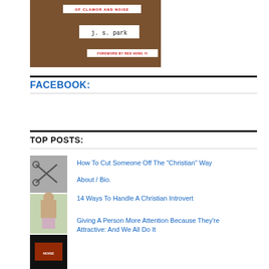[Figure (photo): Book cover photo on wooden surface showing 'j. s. park' author name label, 'OF CLAMOR AND NOISE' title strip, and 'FOREWORD BY RED HONG YI' strip]
FACEBOOK:
TOP POSTS:
[Figure (photo): Thumbnail images: scissors on gray background, man outdoors, illustrated figure]
How To Cut Someone Off The "Christian" Way
About / Bio.
14 Ways To Handle A Christian Introvert
[Figure (photo): Dark thumbnail with red/orange text graphic]
Giving A Person More Attention Because They're Attractive: And We All Do It